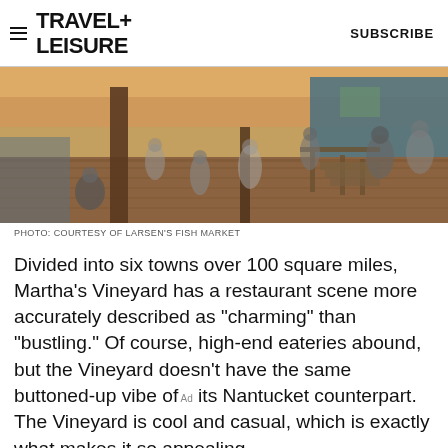TRAVEL+ LEISURE   SUBSCRIBE
[Figure (photo): People sitting and relaxing on a wooden dock/boardwalk at a waterfront fish market at sunset, with wooden buildings visible in the background.]
PHOTO: COURTESY OF LARSEN'S FISH MARKET
Divided into six towns over 100 square miles, Martha's Vineyard has a restaurant scene more accurately described as "charming" than "bustling." Of course, high-end eateries abound, but the Vineyard doesn't have the same buttoned-up vibe of its Nantucket counterpart. The Vineyard is cool and casual, which is exactly what makes it so appealing